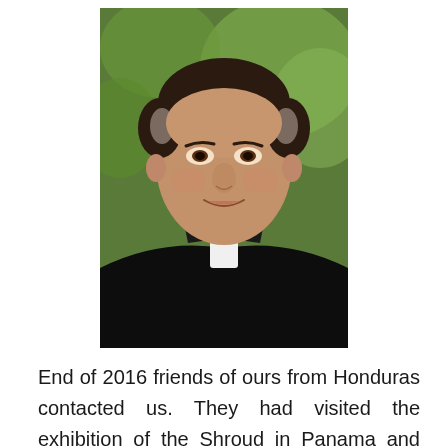[Figure (photo): Portrait photograph of a middle-aged man, likely a Catholic priest, wearing a black clerical collar with white tab. He is smiling warmly. The background is a blurred outdoor green setting.]
End of 2016 friends of ours from Honduras contacted us. They had visited the exhibition of the Shroud in Panama and wanted to organize an exhibition in